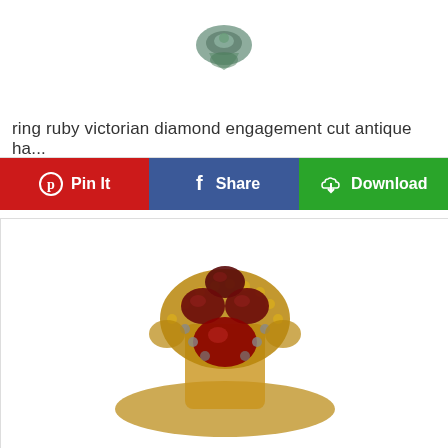[Figure (photo): Close-up photo of an antique or Victorian-style ring with green/teal patina, partially visible at top of card]
ring ruby victorian diamond engagement cut antique ha...
Pin It | Share | Download
[Figure (photo): Close-up photo of a Victorian antique gold ring set with deep red garnet or ruby stones and small pearls, ornate gold setting visible]